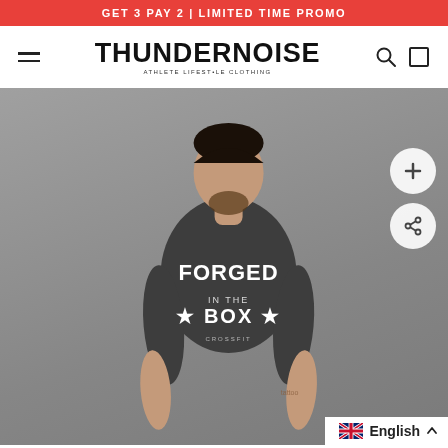GET 3 PAY 2 | LIMITED TIME PROMO
[Figure (logo): Thundernoise Athlete Lifestyle Clothing brand logo with hamburger menu, search icon, and cart icon in navigation bar]
[Figure (photo): Male model wearing a dark grey 'Forged in the Box' branded t-shirt against a grey background, with zoom and share floating action buttons on the right side, and an English language selector at bottom right]